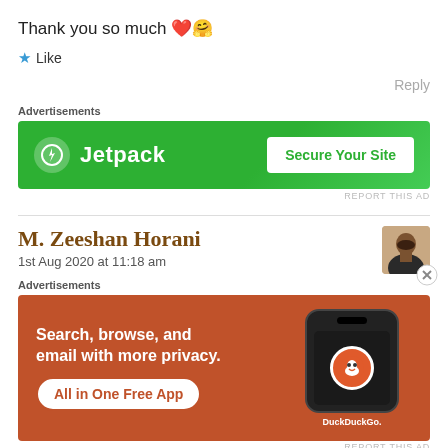Thank you so much ❤️🤗
★ Like
Reply
[Figure (screenshot): Jetpack advertisement banner with green background. Left: Jetpack logo (lightning bolt in circle) and 'Jetpack' text. Right: white button with 'Secure Your Site' text in green.]
REPORT THIS AD
M. Zeeshan Horani
1st Aug 2020 at 11:18 am
[Figure (screenshot): DuckDuckGo advertisement banner with orange-red background. Left: 'Search, browse, and email with more privacy.' text and 'All in One Free App' button. Right: smartphone showing DuckDuckGo logo.]
REPORT THIS AD